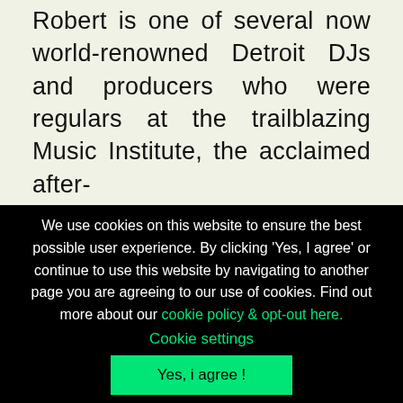Robert is one of several now world-renowned Detroit DJs and producers who were regulars at the trailblazing Music Institute, the acclaimed after-
We use cookies on this website to ensure the best possible user experience. By clicking 'Yes, I agree' or continue to use this website by navigating to another page you are agreeing to our use of cookies. Find out more about our cookie policy & opt-out here.
Cookie settings
Yes, i agree !